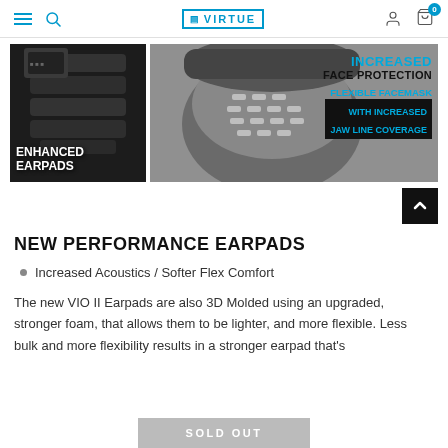VIRTUE navigation header with hamburger menu, search, logo, user icon, cart (0)
[Figure (photo): Left: close-up photo of enhanced earpads with text 'ENHANCED EARPADS'. Right: paintball facemask photo with text overlay 'INCREASED FACE PROTECTION / FLEXIBLE FACEMASK WITH INCREASED JAW LINE COVERAGE']
NEW PERFORMANCE EARPADS
Increased Acoustics / Softer Flex Comfort
The new VIO II Earpads are also 3D Molded using an upgraded, stronger foam, that allows them to be lighter, and more flexible. Less bulk and more flexibility results in a stronger earpad that's
SOLD OUT